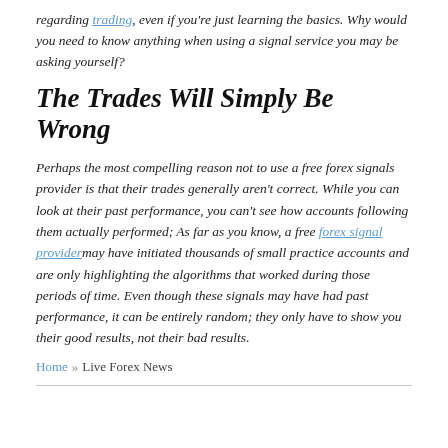regarding trading, even if you're just learning the basics. Why would you need to know anything when using a signal service you may be asking yourself?
The Trades Will Simply Be Wrong
Perhaps the most compelling reason not to use a free forex signals provider is that their trades generally aren't correct. While you can look at their past performance, you can't see how accounts following them actually performed; As far as you know, a free forex signal provider may have initiated thousands of small practice accounts and are only highlighting the algorithms that worked during those periods of time. Even though these signals may have had past performance, it can be entirely random; they only have to show you their good results, not their bad results.
Home » Live Forex News